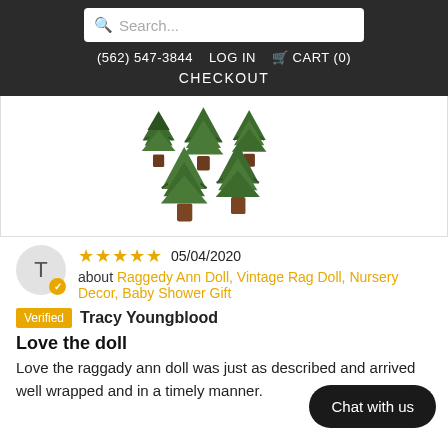Search... | (562) 547-3844 | LOG IN | CART (0) | CHECKOUT
[Figure (photo): Product photo of miniature decorative Christmas trees arranged in a group, with brown cone bases and green foliage details, on a white background.]
★★★★★ 05/04/2020 about Raggedy Ann Doll, Vintage Rag Doll, Nursery Decor, Baby Shower Gift
Verified Tracy Youngblood
Love the doll
Love the raggady ann doll was just as described and arrived well wrapped and in a timely manner.